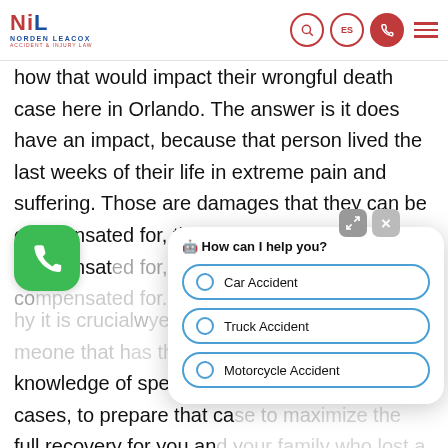Norden Leacox Accident & Injury Law — navigation header with logo, search, ES, phone, and menu icons
how that would impact their wrongful death case here in Orlando. The answer is it does have an impact, because that person lived the last weeks of their life in extreme pain and suffering. Those are damages that they can be compensated for, that the family can be compensated for, the estate can be compensated for.
why it is crucial to have a lawyer that you someone that has the education, experience, and knowledge of specifically wrongful death cases, to prepare that case to maximize the full recovery for you and your family who lost a loved one as the result of someone's negligence, please contact
[Figure (screenshot): Chat popup overlay with header 'How can I help you?' and three options: Car Accident, Truck Accident, Motorcycle Accident. Green phone FAB button visible on left.]